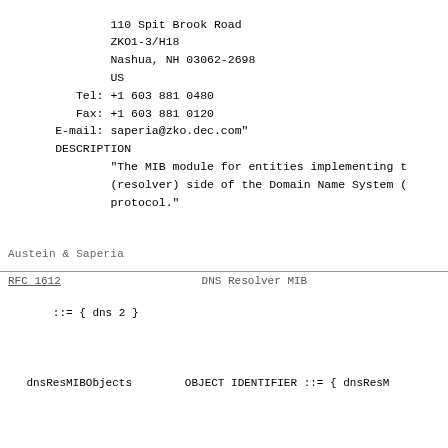110 Spit Brook Road
                ZKO1-3/H18
                Nashua, NH 03062-2698
                US
           Tel: +1 603 881 0480
           Fax: +1 603 881 0120
        E-mail: saperia@zko.dec.com"
DESCRIPTION
        "The MIB module for entities implementing t
        (resolver) side of the Domain Name System (
        protocol."
Austein & Saperia
RFC 1612                     DNS Resolver MIB
::= { dns 2 }

    dnsResMIBObjects        OBJECT IDENTIFIER ::= { dnsResM

    -- (Old-style) groups in the DNS resolver MIB.

    dnsResConfig            OBJECT IDENTIFIER ::= { dnsResM
    dnsResCounter           OBJECT IDENTIFIER ::= { dnsResM
    dnsResLameDelegation    OBJECT IDENTIFIER ::= { dnsResM
    dnsResCache             OBJECT IDENTIFIER ::= { dnsResM